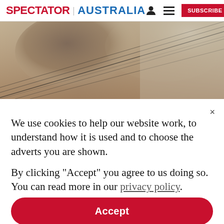SPECTATOR | AUSTRALIA
[Figure (photo): Aerial or wide-angle photograph showing power lines against a smoky, hazy sky with brownish and beige tones]
We use cookies to help our website work, to understand how it is used and to choose the adverts you are shown.
By clicking "Accept" you agree to us doing so. You can read more in our privacy policy.
Accept